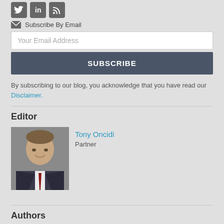[Figure (logo): Social media icons: Twitter bird, LinkedIn 'in', RSS feed symbol, all in dark gray square icon boxes]
Subscribe By Email
Your Email Address
SUBSCRIBE
By subscribing to our blog, you acknowledge that you have read our Disclaimer.
Editor
[Figure (photo): Headshot photo of Tony Oncidi, a man in a dark suit with a red tie, smiling.]
Tony Oncidi
Partner
Authors
View Blog Authors